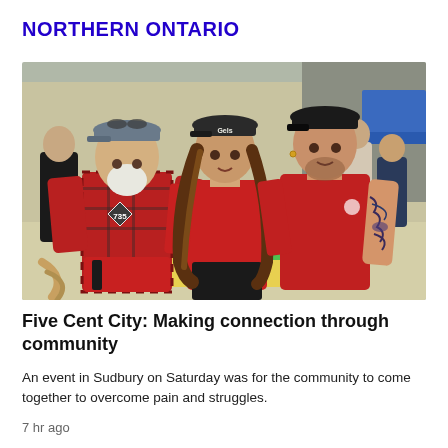NORTHERN ONTARIO
[Figure (photo): Three people wearing red shirts standing together outdoors at a community event. The person on the left is an older man wearing a red plaid shirt vest over a red graphic t-shirt and a cap with sunglasses. The middle person is a woman wearing a black cap and red top with long brown hair. The person on the right is a man in a plain red t-shirt with tattoos on his arm. Background shows a building, a blue tent, and other event attendees.]
Five Cent City: Making connection through community
An event in Sudbury on Saturday was for the community to come together to overcome pain and struggles.
7 hr ago